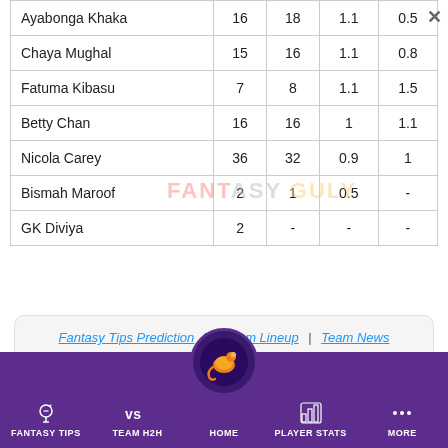| Player | Col1 | Col2 | Col3 | Col4 |
| --- | --- | --- | --- | --- |
| Ayabonga Khaka | 16 | 18 | 1.1 | 0.5 |
| Chaya Mughal | 15 | 16 | 1.1 | 0.8 |
| Fatuma Kibasu | 7 | 8 | 1.1 | 1.5 |
| Betty Chan | 16 | 16 | 1 | 1.1 |
| Nicola Carey | 36 | 32 | 0.9 | 1 |
| Bismah Maroof | 2 | 1 | 0.5 | - |
| GK Diviya | 2 | - | - | - |
Fantasy Tips Prediction | Dream Lineup | Team News
FANTASY TIPS | TEAM H2H | HOME | PLAYER STATS | MORE